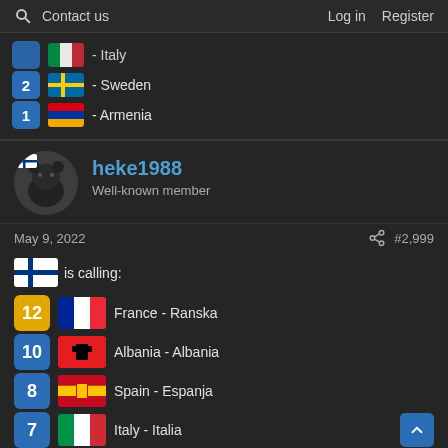Contact us  Log in  Register
Italy
2 - Sweden
1 - Armenia
heke1988
Well-known member
May 9, 2022
#2,999
is calling:
12 France - Ranska
10 Albania - Albania
8 Spain - Espanja
7 Italy - Italia
6 Austria - Itävalta
5 Poland - Puola